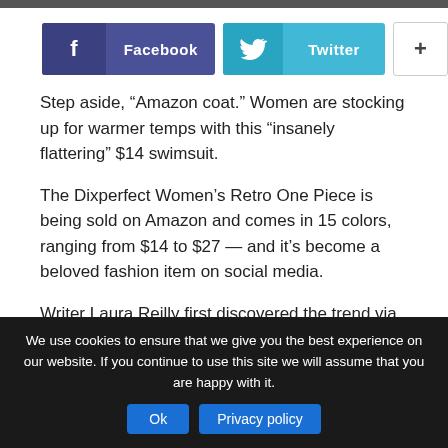[Figure (other): Social sharing buttons: Facebook, Twitter, and a plus button]
Step aside, “Amazon coat.” Women are stocking up for warmer temps with this “insanely flattering” $14 swimsuit.
The Dixperfect Women's Retro One Piece is being sold on Amazon and comes in 15 colors, ranging from $14 to $27 — and it's become a beloved fashion item on social media.
Writer Laura Reilly first discovered the trend via Instagram, and she's affectionately dubbed it the “Amazon Swimsuit.”
We use cookies to ensure that we give you the best experience on our website. If you continue to use this site we will assume that you are happy with it.